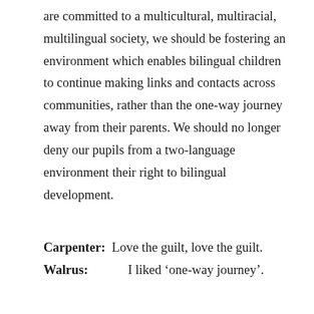are committed to a multicultural, multiracial, multilingual society, we should be fostering an environment which enables bilingual children to continue making links and contacts across communities, rather than the one-way journey away from their parents. We should no longer deny our pupils from a two-language environment their right to bilingual development.
Carpenter: Love the guilt, love the guilt.
Walrus: I liked ‘one-way journey’.